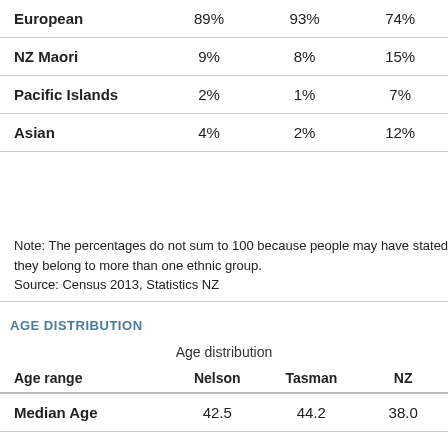|  |  |  |  |
| --- | --- | --- | --- |
| European | 89% | 93% | 74% |
| NZ Maori | 9% | 8% | 15% |
| Pacific Islands | 2% | 1% | 7% |
| Asian | 4% | 2% | 12% |
Note: The percentages do not sum to 100 because people may have stated they belong to more than one ethnic group.
Source: Census 2013, Statistics NZ
AGE DISTRIBUTION
Age distribution
| Age range | Nelson | Tasman | NZ |
| --- | --- | --- | --- |
| Median Age | 42.5 | 44.2 | 38.0 |